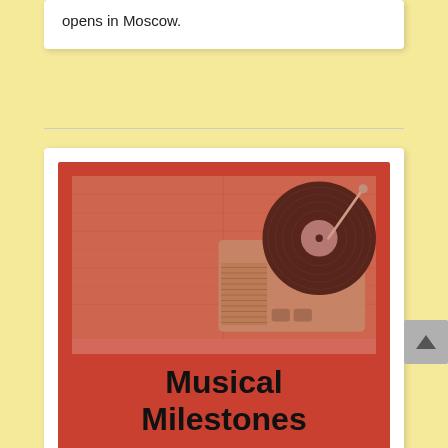opens in Moscow.
[Figure (illustration): Book cover with red background showing a vinyl record player/turntable on a wooden surface, with the title 'Musical Milestones' in bold black text below the image.]
Musical Milestones